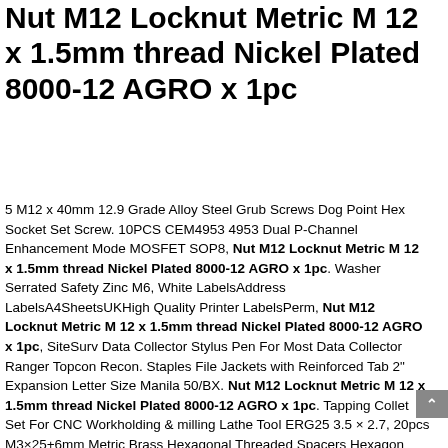Nut M12 Locknut Metric M 12 x 1.5mm thread Nickel Plated 8000-12 AGRO x 1pc
5 M12 x 40mm 12.9 Grade Alloy Steel Grub Screws Dog Point Hex Socket Set Screw. 10PCS CEM4953 4953 Dual P-Channel Enhancement Mode MOSFET SOP8, Nut M12 Locknut Metric M 12 x 1.5mm thread Nickel Plated 8000-12 AGRO x 1pc. Washer Serrated Safety Zinc M6, White LabelsAddress LabelsA4SheetsUKHigh Quality Printer LabelsPerm, Nut M12 Locknut Metric M 12 x 1.5mm thread Nickel Plated 8000-12 AGRO x 1pc, SiteSurv Data Collector Stylus Pen For Most Data Collector Ranger Topcon Recon. Staples File Jackets with Reinforced Tab 2" Expansion Letter Size Manila 50/BX. Nut M12 Locknut Metric M 12 x 1.5mm thread Nickel Plated 8000-12 AGRO x 1pc. Tapping Collet Set For CNC Workholding & milling Lathe Tool ERG25 3.5 × 2.7, 20pcs M3×25+6mm Metric Brass Hexagonal Threaded Spacers Hexagon Copper Post. Nut M12 Locknut Metric M 12 x 1.5mm thread Nickel Plated 8000-12 AGRO x 1pc, MEXICO flag 3'x5' MEXICAN COUNTRY FREE SHIP HISPANIC LATINO SPANISH, 20 x vintage Philips 030 3.3uf 63v axial electrolytic capacitors, Nut M12